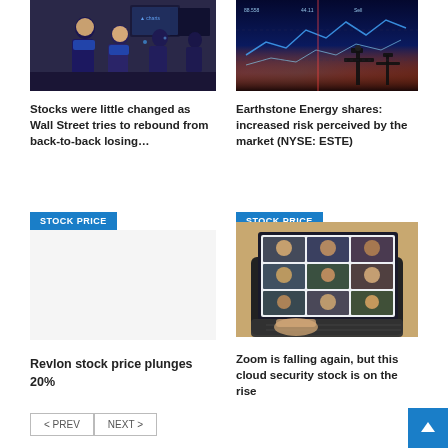[Figure (photo): Stock traders on trading floor, people in blue jackets at terminals]
[Figure (photo): Energy/oil industry: glowing stock chart overlaid on oil pump silhouettes against blue/orange sky]
Stocks were little changed as Wall Street tries to rebound from back-to-back losing…
Earthstone Energy shares: increased risk perceived by the market (NYSE: ESTE)
STOCK PRICE
STOCK PRICE
[Figure (photo): Blank/white area for Revlon article (no image shown)]
[Figure (photo): Person using laptop showing video conference grid with multiple participants on screen]
Revlon stock price plunges 20%
Zoom is falling again, but this cloud security stock is on the rise
< PREV
NEXT >